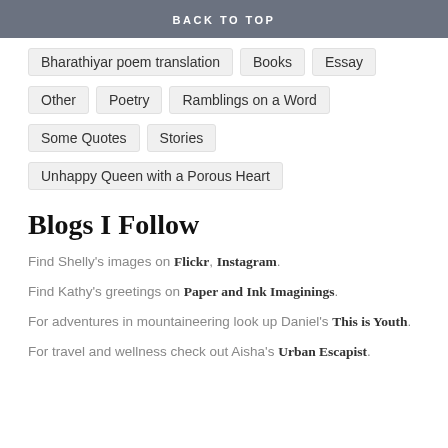BACK TO TOP
Bharathiyar poem translation
Books
Essay
Other
Poetry
Ramblings on a Word
Some Quotes
Stories
Unhappy Queen with a Porous Heart
Blogs I Follow
Find Shelly’s images on Flickr, Instagram.
Find Kathy’s greetings on Paper and Ink Imaginings.
For adventures in mountaineering look up Daniel’s This is Youth.
For travel and wellness check out Aisha’s Urban Escapist.